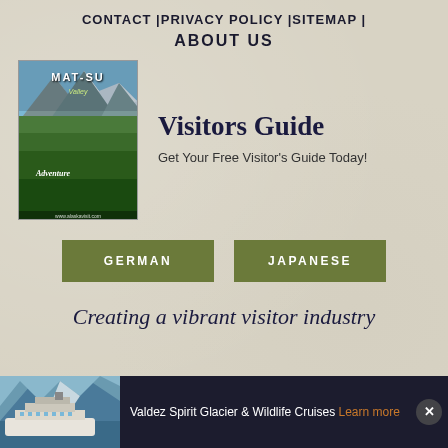CONTACT | PRIVACY POLICY | SITEMAP |
ABOUT US
[Figure (photo): Mat-Su Valley Visitors Guide book cover showing mountains, forests, and river]
Visitors Guide
Get Your Free Visitor's Guide Today!
GERMAN
JAPANESE
Creating a vibrant visitor industry
[Figure (photo): Advertisement banner: Valdez Spirit Glacier & Wildlife Cruises showing cruise ship in fjord with mountains]